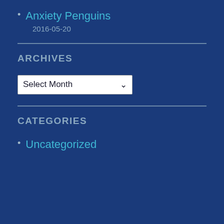Anxiety Penguins
2016-05-20
ARCHIVES
Select Month
CATEGORIES
Uncategorized